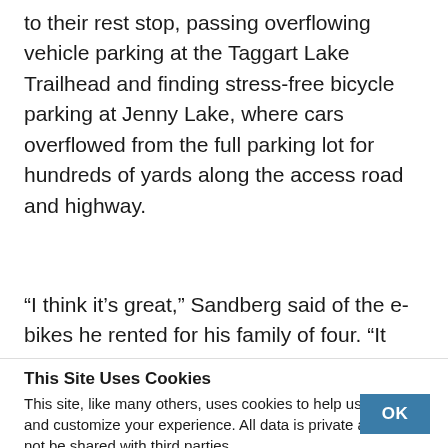to their rest stop, passing overflowing vehicle parking at the Taggart Lake Trailhead and finding stress-free bicycle parking at Jenny Lake, where cars overflowed from the full parking lot for hundreds of yards along the access road and highway.
“I think it’s great,” Sandberg said of the e-bikes he rented for his family of four. “It gives us the ability to cover a lot of terrain.”
This Site Uses Cookies
This site, like many others, uses cookies to help us improve and customize your experience. All data is private and will not be shared with third parties.